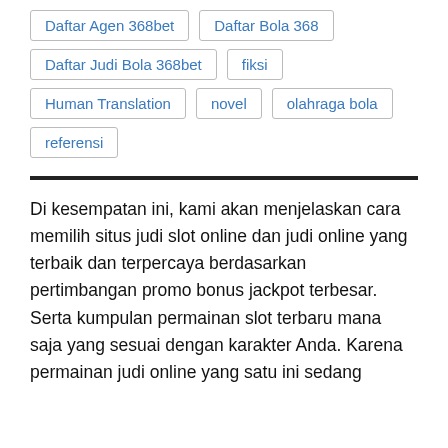Daftar Agen 368bet
Daftar Bola 368
Daftar Judi Bola 368bet
fiksi
Human Translation
novel
olahraga bola
referensi
Di kesempatan ini, kami akan menjelaskan cara memilih situs judi slot online dan judi online yang terbaik dan terpercaya berdasarkan pertimbangan promo bonus jackpot terbesar. Serta kumpulan permainan slot terbaru mana saja yang sesuai dengan karakter Anda. Karena permainan judi online yang satu ini sedang